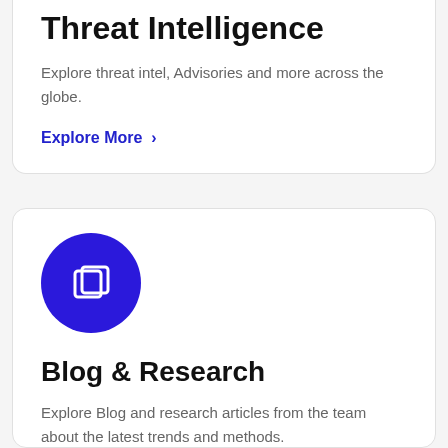Threat Intelligence
Explore threat intel, Advisories and more across the globe.
Explore More >
[Figure (illustration): Purple circle icon with overlapping squares/layers symbol representing blog and research]
Blog & Research
Explore Blog and research articles from the team about the latest trends and methods.